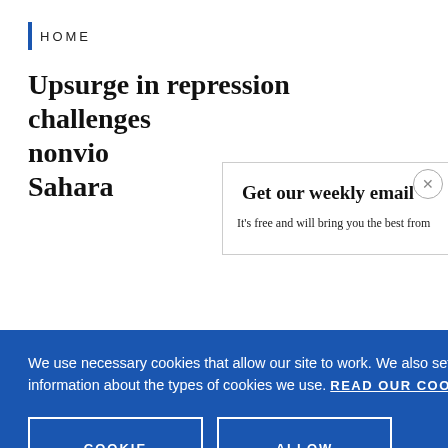HOME
Upsurge in repression challenges nonvio... Sahara...
Get our weekly email
It's free and will bring you the best from
We use necessary cookies that allow our site to work. We also set optional cookies that help us improve our website. For more information about the types of cookies we use. READ OUR COOKIES POLICY HERE
COOKIE SETTINGS
ALLOW ALL COOKIES
data.